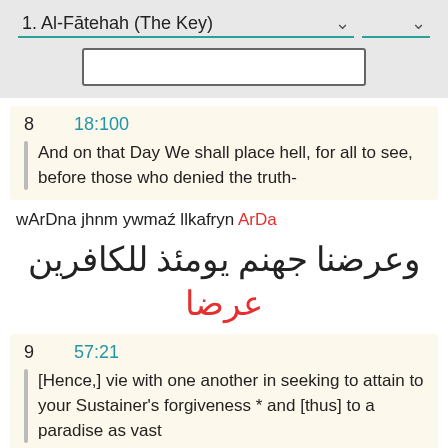1. Al-Fātehah (The Key)
8   18:100
And on that Day We shall place hell, for all to see, before those who denied the truth-
wArDna jhnm ywmaź llkafryn ArDa
وعرضنا جهنم يومئذ للكافرين عرضا
9   57:21
[Hence,] vie with one another in seeking to attain to your Sustainer's forgiveness * and [thus] to a paradise as vast